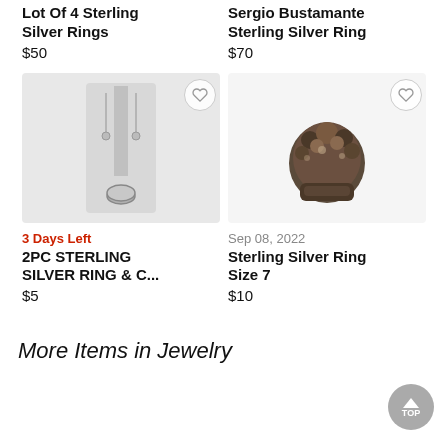Lot Of 4 Sterling Silver Rings
$50
Sergio Bustamante Sterling Silver Ring
$70
[Figure (photo): 2PC Sterling Silver ring and earring set on display stand, white background]
[Figure (photo): Sterling silver decorative ring with floral/animal motif, dark metallic finish]
3 Days Left
2PC STERLING SILVER RING & C...
$5
Sep 08, 2022
Sterling Silver Ring Size 7
$10
More Items in Jewelry